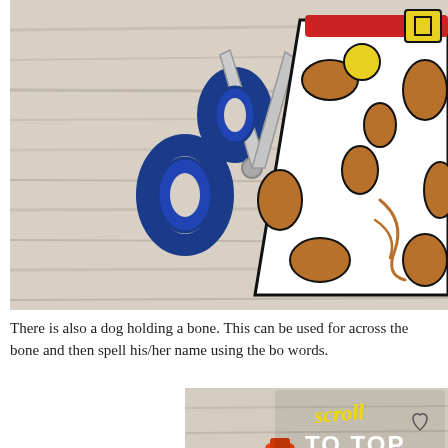[Figure (photo): Photo showing blue scissors on a wooden surface next to a paper craft of a dog body (white with brown spots, red collar with yellow buckle, yellow tag), cut out and placed on a light gray wooden background.]
There is also a dog holding a bone.  This can be used for across the bone and then spell his/her name using the bo words.
[Figure (photo): Photo showing a glue stick on a wooden surface with a 'scroll TO TOP' overlay text in yellow and white with decorative script font, and a small heart doodle.]